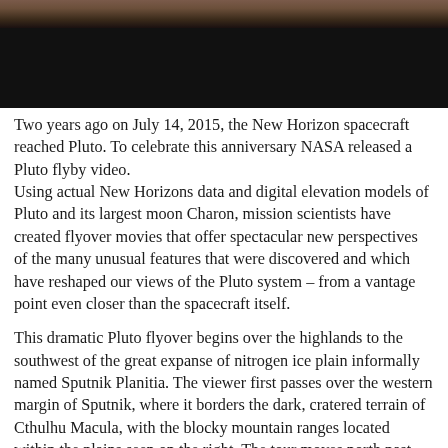[Figure (photo): Partial view of Pluto surface photograph — top portion shows reddish/brownish cratered terrain, bottom portion is black (dark area or image cutoff).]
Two years ago on July 14, 2015, the New Horizon spacecraft reached Pluto. To celebrate this anniversary NASA released a Pluto flyby video.
Using actual New Horizons data and digital elevation models of Pluto and its largest moon Charon, mission scientists have created flyover movies that offer spectacular new perspectives of the many unusual features that were discovered and which have reshaped our views of the Pluto system – from a vantage point even closer than the spacecraft itself.
This dramatic Pluto flyover begins over the highlands to the southwest of the great expanse of nitrogen ice plain informally named Sputnik Planitia. The viewer first passes over the western margin of Sputnik, where it borders the dark, cratered terrain of Cthulhu Macula, with the blocky mountain ranges located within the plains seen on the right. The tour moves north past the rugged and fractured highlands of Voyager Terra, and then east over the